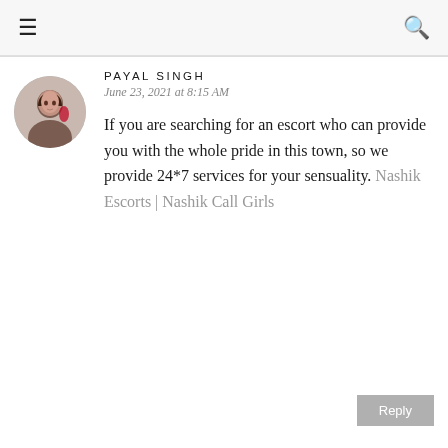≡ 🔍
PAYAL SINGH
June 23, 2021 at 8:15 AM
If you are searching for an escort who can provide you with the whole pride in this town, so we provide 24*7 services for your sensuality. Nashik Escorts | Nashik Call Girls